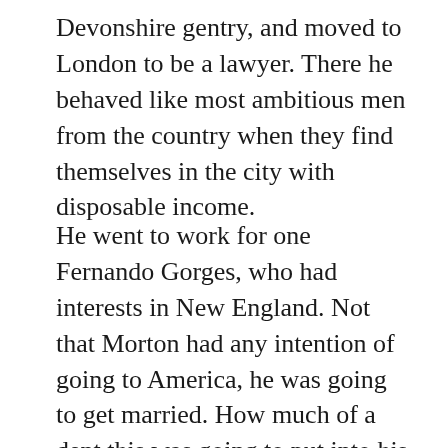Devonshire gentry, and moved to London to be a lawyer. There he behaved like most ambitious men from the country when they find themselves in the city with disposable income.
He went to work for one Fernando Gorges, who had interests in New England. Not that Morton had any intention of going to America, he was going to get married. How much of a dent this was going to put into his gambling/ whoring/ drinking, we'll never know because a Puritan relation derailed his wedding plans. This was short-sighted, all things considered, the Puritans should have opted to sacrifice one of their